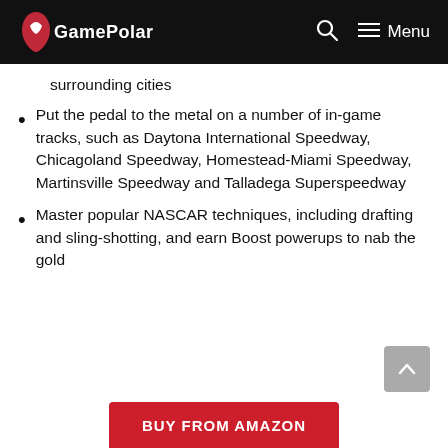GamePolar | Menu
surrounding cities
Put the pedal to the metal on a number of in-game tracks, such as Daytona International Speedway, Chicagoland Speedway, Homestead-Miami Speedway, Martinsville Speedway and Talladega Superspeedway
Master popular NASCAR techniques, including drafting and sling-shotting, and earn Boost powerups to nab the gold